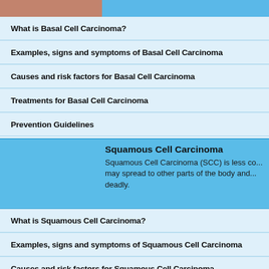[Figure (photo): Partial photo of skin condition at top of page with blue background]
What is Basal Cell Carcinoma?
Examples, signs and symptoms of Basal Cell Carcinoma
Causes and risk factors for Basal Cell Carcinoma
Treatments for Basal Cell Carcinoma
Prevention Guidelines
Squamous Cell Carcinoma
Squamous Cell Carcinoma (SCC) is less co... may spread to other parts of the body and... deadly.
What is Squamous Cell Carcinoma?
Examples, signs and symptoms of Squamous Cell Carcinoma
Causes and risk factors for Squamous Cell Carcinoma
Treatments for Squamous Cell Carcinoma